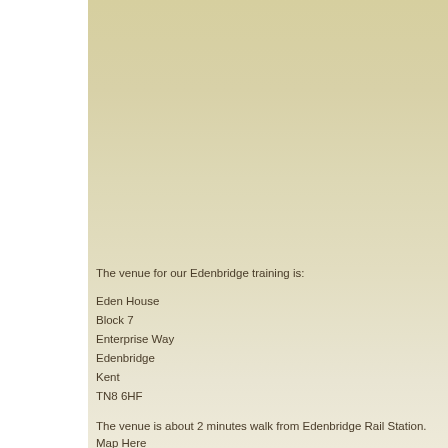The venue for our Edenbridge training is:
Eden House
Block 7
Enterprise Way
Edenbridge
Kent
TN8 6HF
The venue is about 2 minutes walk from Edenbridge Rail Station.  Map Here
Should you wish to arrive by car, the Edenbridge venue has free parking for delegates.
Refreshments are available throughout the Edenbridge course, and lunch ca...